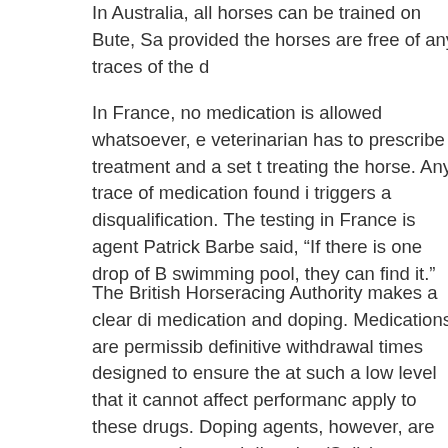In Australia, all horses can be trained on Bute, Sa provided the horses are free of any traces of the d
In France, no medication is allowed whatsoever, e veterinarian has to prescribe treatment and a set t treating the horse. Any trace of medication found i triggers a disqualification. The testing in France is agent Patrick Barbe said, “If there is one drop of B swimming pool, they can find it.”
The British Horseracing Authority makes a clear di medication and doping. Medications are permissib definitive withdrawal times designed to ensure the at such a low level that it cannot affect performanc apply to these drugs. Doping agents, however, are concentration, and diuretics (Salix) are included o anabolic steroids and tranquilizers.